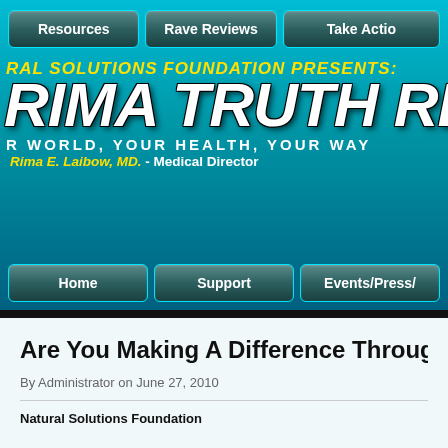Resources | Rave Reviews | Take Action
[Figure (screenshot): Natural Solutions Foundation website banner with 'RIMA TRUTH REPORT' title in large white italic bold text on teal/blue gradient background. Yellow italic text reads 'RAL SOLUTIONS FOUNDATION PRESENTS:'. Slogan: 'R WORLD, YOUR HEALTH, YOUR WAY'. Director line: 'Rima E. Laibow, MD. - Medical Director']
Are You Making A Difference Through the N
By Administrator on June 27, 2010
Natural Solutions Foundation